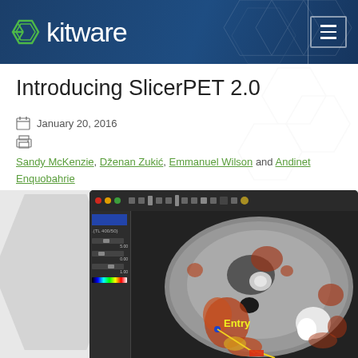Kitware
Introducing SlicerPET 2.0
January 20, 2016
Sandy McKenzie, Dženan Zukić, Emmanuel Wilson and Andinet Enquobahrie
[Figure (screenshot): SlicerPET 2.0 software interface showing a CT/PET fusion medical image with red/orange overlay highlighting metabolic activity regions, a yellow line indicating a needle entry path labeled 'Entry', and a sidebar with controls and color scale.]